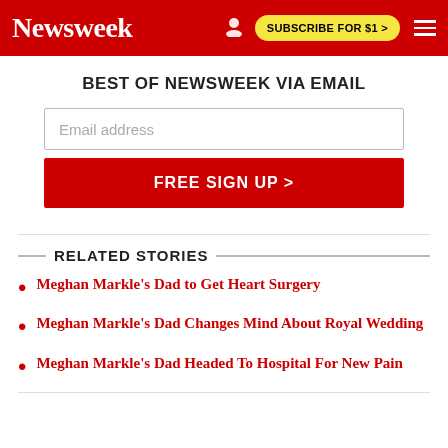Newsweek | SUBSCRIBE FOR $1 >
BEST OF NEWSWEEK VIA EMAIL
Email address
FREE SIGN UP >
RELATED STORIES
Meghan Markle's Dad to Get Heart Surgery
Meghan Markle's Dad Changes Mind About Royal Wedding
Meghan Markle's Dad Headed To Hospital For New Pain